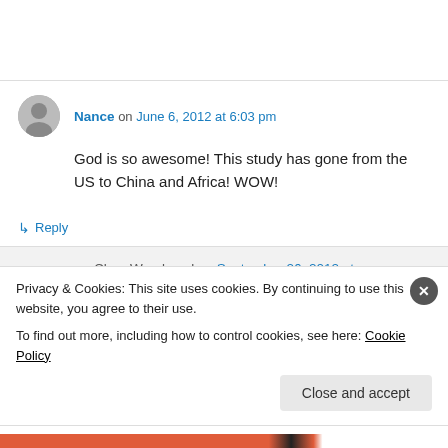Nance on June 6, 2012 at 6:03 pm
God is so awesome! This study has gone from the US to China and Africa! WOW!
↳ Reply
Clare Woodward on September 26, 2012 at
Privacy & Cookies: This site uses cookies. By continuing to use this website, you agree to their use. To find out more, including how to control cookies, see here: Cookie Policy